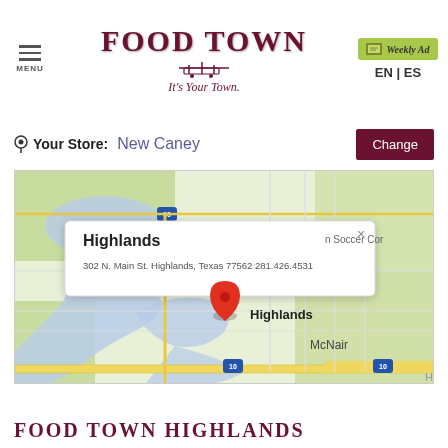FOOD TOWN — It's Your Town. | MENU | Weekly Ad | EN | ES
Your Store: New Caney
[Figure (map): Google Maps view of Highlands, Texas showing a popup with address '302 N. Main St. Highlands, Texas 77562 281.426.4531' and a red location pin on the map. The map shows Highlands and McNair areas with waterways and roads including Route 10.]
FOOD TOWN HIGHLANDS